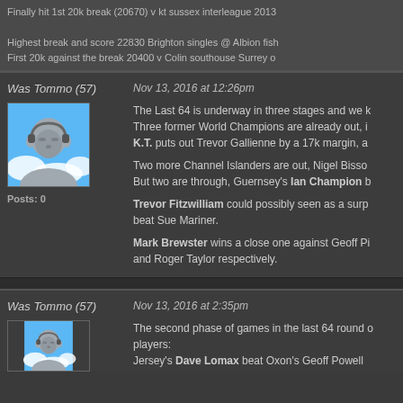Finally hit 1st 20k break (20670) v kt sussex interleague 2013
Highest break and score 22830 Brighton singles @ Albion fish First 20k against the break 20400 v Colin southouse Surrey o
Was Tommo (57)
Nov 13, 2016 at 12:26pm
[Figure (illustration): Default user avatar silhouette with blue sky background]
Posts: 0
The Last 64 is underway in three stages and we k Three former World Champions are already out, i K.T. puts out Trevor Gallienne by a 17k margin, a
Two more Channel Islanders are out, Nigel Bisso But two are through, Guernsey's Ian Champion b
Trevor Fitzwilliam could possibly seen as a surp beat Sue Mariner.
Mark Brewster wins a close one against Geoff Pi and Roger Taylor respectively.
Was Tommo (57)
Nov 13, 2016 at 2:35pm
[Figure (illustration): Default user avatar silhouette with blue sky background (partial)]
The second phase of games in the last 64 round o players: Jersey's Dave Lomax beat Oxon's Geoff Powell